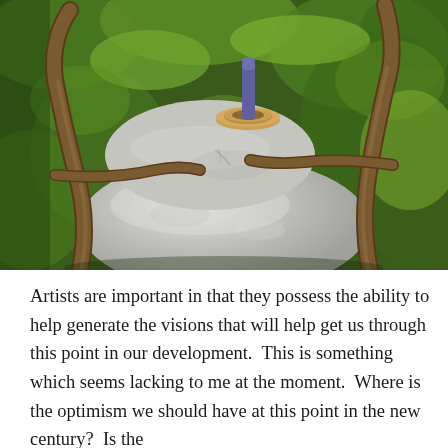[Figure (photo): Photograph of a sculptural arrangement featuring stacked white stones with twisted brown driftwood branches framing them, and a small wooden disk with a purple cylindrical object on top, set against a green leafy background.]
Artists are important in that they possess the ability to help generate the visions that will help get us through this point in our development.  This is something which seems lacking to me at the moment.  Where is the optimism we should have at this point in the new century?  Is the